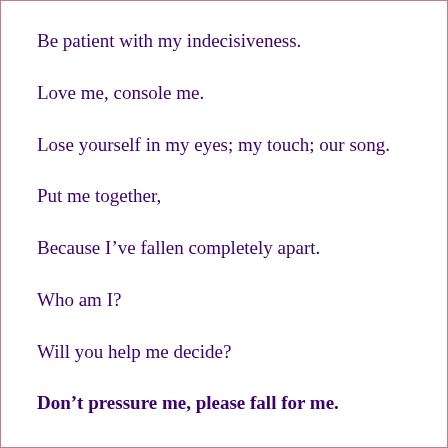Be patient with my indecisiveness.
Love me, console me.
Lose yourself in my eyes; my touch; our song.
Put me together,
Because I've fallen completely apart.
Who am I?
Will you help me decide?
Don't pressure me, please fall for me.
No, don't.
I'll only hurt you, it's all I know (how) to do.